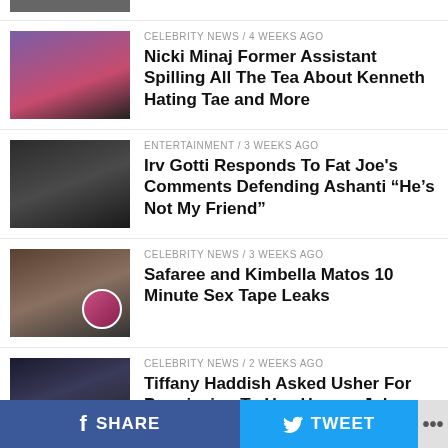[Figure (photo): Partial thumbnail at top (cropped)]
CELEBRITY NEWS / 4 weeks ago
Nicki Minaj Former Assistant Spilling All The Tea About Kenneth Hating Tae and More
[Figure (photo): Two men, dark background]
ENTERTAINMENT / 3 weeks ago
Irv Gotti Responds To Fat Joe’s Comments Defending Ashanti “He’s Not My Friend”
[Figure (photo): Man with beard, circular inset image of woman]
CELEBRITY NEWS / 3 weeks ago
Safaree and Kimbella Matos 10 Minute Sex Tape Leaks
[Figure (photo): Group at event, dark background]
CELEBRITY NEWS / 2 weeks ago
Tiffany Haddish Asked Usher For Permission To Use Herpes Joke
[Figure (photo): Partial thumbnail at bottom (cropped)]
CELEBRITY NEWS / 4 weeks ago